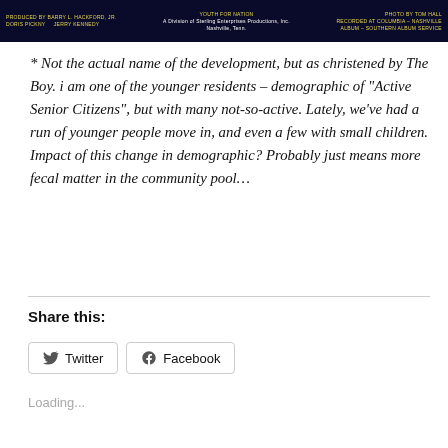[Figure (photo): Dark banner image showing album/event production credits in small yellow text on dark navy/black background]
* Not the actual name of the development, but as christened by The Boy. i am one of the younger residents – demographic of “Active Senior Citizens”, but with many not-so-active. Lately, we’ve had a run of younger people move in, and even a few with small children. Impact of this change in demographic? Probably just means more fecal matter in the community pool…
Share this:
Loading...